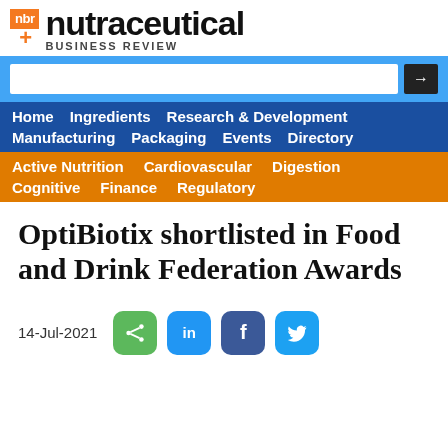[Figure (logo): Nutraceutical Business Review logo with orange NBR box, plus sign and 'nutraceutical BUSINESS REVIEW' text]
[Figure (screenshot): Website navigation bar with search field, blue nav links (Home, Ingredients, Research & Development, Manufacturing, Packaging, Events, Directory) and orange nav links (Active Nutrition, Cardiovascular, Digestion, Cognitive, Finance, Regulatory)]
OptiBiotix shortlisted in Food and Drink Federation Awards
14-Jul-2021